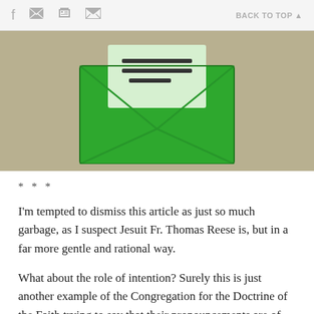f  🐦  🖨  ✉  BACK TO TOP ▲
[Figure (illustration): Green envelope illustration on a tan/khaki background. The envelope is shown open with a letter/document inside showing three horizontal lines (text lines). The envelope flap is shown as an X pattern on the front.]
***
I'm tempted to dismiss this article as just so much garbage, as I suspect Jesuit Fr. Thomas Reese is, but in a far more gentle and rational way.
What about the role of intention? Surely this is just another example of the Congregation for the Doctrine of the Faith trying to say that their pronouncements are of far greater significance than anything Jesus said such as when "he attacked the Scribes and the Pharisees for their emphasis on the minutiae of the